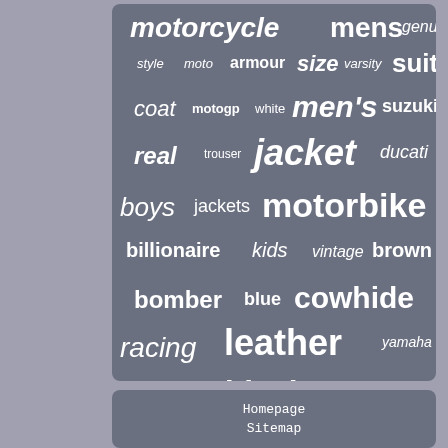[Figure (infographic): Word cloud on motorcycle/leather jacket themed keywords. Words of varying sizes in white italic, bold, and regular styles on a dark gray background. Words include: motorcycle, mens, genuine, style, moto, armour, size, varsity, suit, coat, motogp, white, men's, suzuki, real, trouser, jacket, ducati, boys, jackets, motorbike, billionaire, kids, vintage, brown, bomber, blue, cowhide, racing, leather, yamaha, black]
Homepage
Sitemap